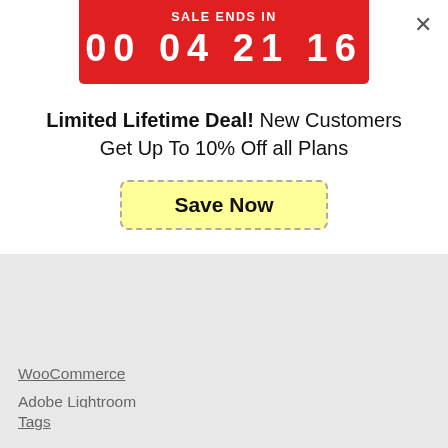[Figure (screenshot): Sale countdown banner in red with text SALE ENDS IN and timer 00 04 21 16]
Limited Lifetime Deal! New Customers Get Up To 10% Off all Plans
[Figure (other): Yellow dashed-border button with text Save Now]
WooCommerce
Adobe Lightroom
Tags
Image Downloads
Gallery Templates
Instagram
Brands
SoliloquyWP
Connect with us
[Figure (other): Social media icons for Facebook, Twitter, YouTube, Pinterest]